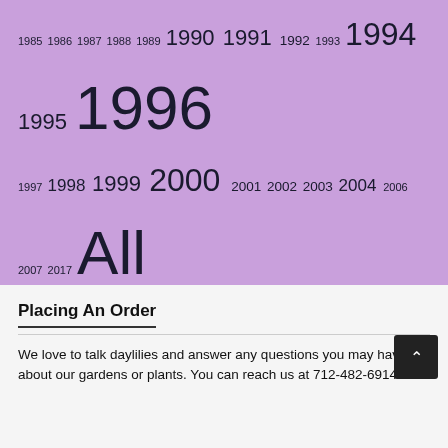[Figure (infographic): Tag cloud on purple background with years (1985-2017) and daylily-related terms in varying font sizes: 1985 1986 1987 1988 1989 1990 1991 1992 1993 1994 1995 1996 1997 1998 1999 2000 2001 2002 2003 2004 2006 2007 2017 All Daylilies CARPENTER J Dip Dor E EM EMMERICH Evr GOSSARD HANSON C KEAST M&T KIRCHHOFF D M ML MOLDOVAN re SALTER SCOTT B SEv STAMILE Tet WILD]
Placing An Order
We love to talk daylilies and answer any questions you may have about our gardens or plants. You can reach us at 712-482-6914 or